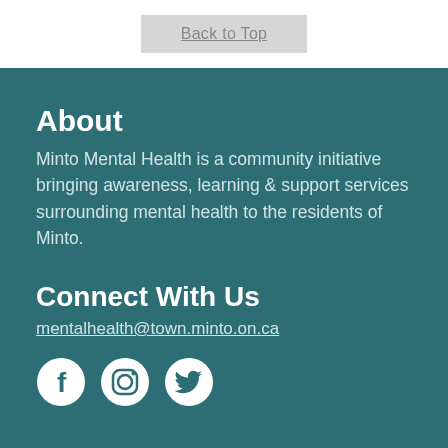Back to Top
About
Minto Mental Health is a community initiative bringing awareness, learning & support services surrounding mental health to the residents of Minto.
Connect With Us
mentalhealth@town.minto.on.ca
[Figure (illustration): Three social media icons: Facebook, Instagram, Twitter on teal background]